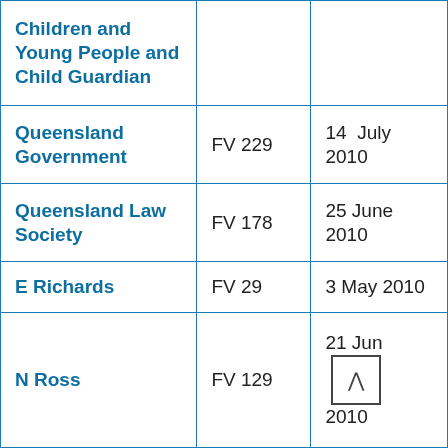| Name | Submission | Date |
| --- | --- | --- |
| Children and Young People and Child Guardian |  |  |
| Queensland Government | FV 229 | 14 July 2010 |
| Queensland Law Society | FV 178 | 25 June 2010 |
| E Richards | FV 29 | 3 May 2010 |
| N Ross | FV 129 | 21 June 2010 |